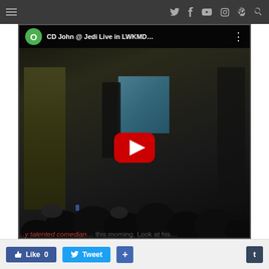Navigation bar with hamburger menu and social icons (Twitter, Facebook, YouTube, Instagram, Pinterest, Search)
[Figure (screenshot): YouTube video thumbnail showing 'CD John @ Jedi Live in LWKMD...' with a green avatar circle labeled O, three-dot menu, a dark event/conference scene with audience silhouettes and presenter on stage with blue projection screen, red YouTube play button in center]
...y talented comedian... this morning. Look at his... asted and m...
[Figure (other): Social sharing bar with Facebook Like (0), Twitter Tweet, and plus (+) buttons, and a Tumblr (t) button on the right]